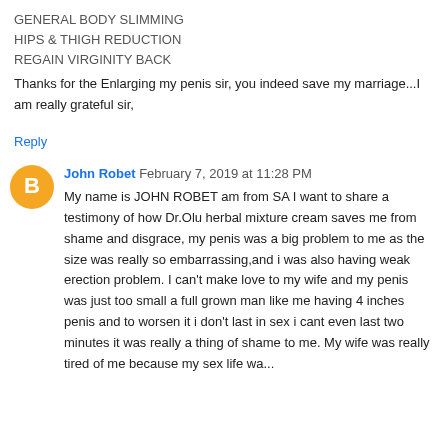GENERAL BODY SLIMMING
HIPS & THIGH REDUCTION
REGAIN VIRGINITY BACK
Thanks for the Enlarging my penis sir, you indeed save my marriage...I am really grateful sir,
Reply
John Robet  February 7, 2019 at 11:28 PM
My name is JOHN ROBET am from SA I want to share a testimony of how Dr.Olu herbal mixture cream saves me from shame and disgrace, my penis was a big problem to me as the size was really so embarrassing,and i was also having weak erection problem. I can't make love to my wife and my penis was just too small a full grown man like me having 4 inches penis and to worsen it i don't last in sex i cant even last two minutes it was really a thing of shame to me. My wife was really tired of me because my sex life wa...